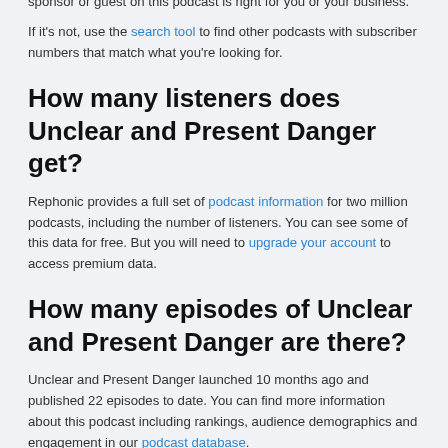sponsor or guest on this podcast is right for you or your business.
If it's not, use the search tool to find other podcasts with subscriber numbers that match what you're looking for.
How many listeners does Unclear and Present Danger get?
Rephonic provides a full set of podcast information for two million podcasts, including the number of listeners. You can see some of this data for free. But you will need to upgrade your account to access premium data.
How many episodes of Unclear and Present Danger are there?
Unclear and Present Danger launched 10 months ago and published 22 episodes to date. You can find more information about this podcast including rankings, audience demographics and engagement in our podcast database.